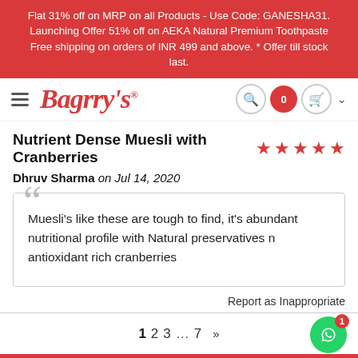Flat 31% off on MRP on all Products - Use Code: GANESHA31. Launching Offer 51% off on AEKA Natural Premium Toothpaste Free shipping on orders of INR 499 and above. * Offer till stock last.
[Figure (logo): Bagrry's logo with hamburger menu, search icon, cart with 0 badge, and chevron]
Nutrient Dense Muesli with Cranberries
Dhruv Sharma on Jul 14, 2020
Muesli's like these are tough to find, it's abundant nutritional profile with Natural preservatives n antioxidant rich cranberries
Report as Inappropriate
1 2 3 ... 7